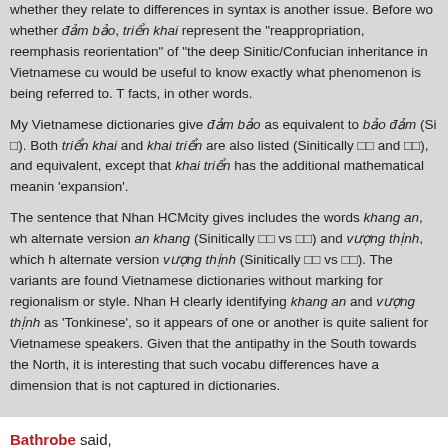whether they relate to differences in syntax is another issue. Before wo whether đảm bảo, triển khai represent the "reappropriation, reemphasis reorientation" of "the deep Sinitic/Confucian inheritance in Vietnamese cu would be useful to know exactly what phenomenon is being referred to. T facts, in other words.
My Vietnamese dictionaries give đảm bảo as equivalent to bảo đảm (Si □). Both triển khai and khai triển are also listed (Sinitically □□ and □□), and equivalent, except that khai triển has the additional mathematical meanin 'expansion'.
The sentence that Nhan HCMcity gives includes the words khang an, wh alternate version an khang (Sinitically □□ vs □□) and vượng thịnh, which h alternate version vượng thịnh (Sinitically □□ vs □□). The variants are found Vietnamese dictionaries without marking for regionalism or style. Nhan H clearly identifying khang an and vượng thịnh as 'Tonkinese', so it appears of one or another is quite salient for Vietnamese speakers. Given that the antipathy in the South towards the North, it is interesting that such vocabu differences have a dimension that is not captured in dictionaries.
Bathrobe said,
May 30, 2013 @ 6:11 pm
Sorry, that should have been: vượng thịnh, which has the alternate versio